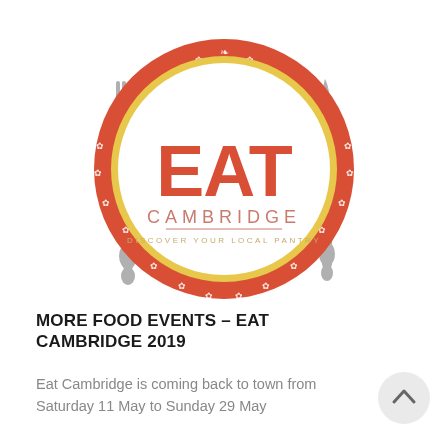[Figure (logo): Eat Cambridge logo: a circular plate design in red/orange with white decorative border pattern and a yellow inner ring. Center white circle contains 'EAT' in large red bold letters, 'CAMBRIDGE' in salmon/pink spaced letters, and 'DISCOVER YOUR LOCAL PANTRY' in a small tagline. A grey fork is on the left and a grey knife is on the right of the plate.]
MORE FOOD EVENTS – EAT CAMBRIDGE 2019
Eat Cambridge is coming back to town from Saturday 11 May to Sunday 29 May